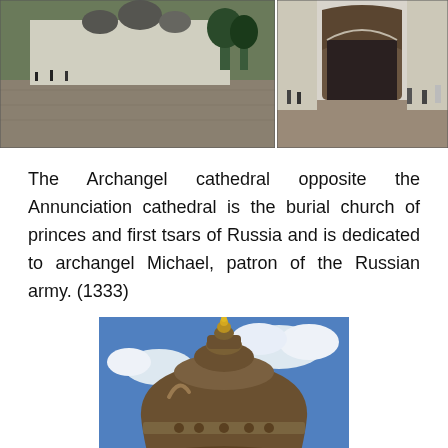[Figure (photo): Two side-by-side photos of a Russian cathedral (Archangel Cathedral in Moscow Kremlin). Left photo shows a wide courtyard view with the white cathedral in the background. Right photo shows a closer view of the cathedral entrance arch with tourists.]
The Archangel cathedral opposite the Annunciation cathedral is the burial church of princes and first tsars of Russia and is dedicated to archangel Michael, patron of the Russian army. (1333)
[Figure (photo): Close-up photo of a large ornate bronze bell (Tsar Bell) with a golden figurine on top, photographed against a blue cloudy sky.]